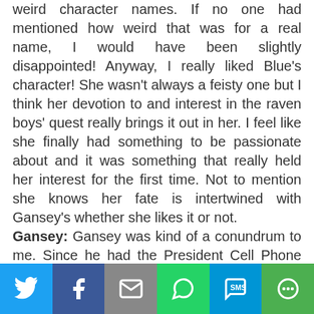weird character names. If no one had mentioned how weird that was for a real name, I would have been slightly disappointed! Anyway, I really liked Blue's character! She wasn't always a feisty one but I think her devotion to and interest in the raven boys' quest really brings it out in her. I feel like she finally had something to be passionate about and it was something that really held her interest for the first time. Not to mention she knows her fate is intertwined with Gansey's whether she likes it or not.
Gansey: Gansey was kind of a conundrum to me. Since he had the President Cell Phone persona (as Blue called it) and the Glendower-obsessed side, he was kind of hard to figure out as a character in the very beginning. Not everything is cut and dry with Gansey and that's what makes him so interesting. I can't wait to see what happens with his character in the next book.
Adam: I think Adam was my favorite character. He was the one that felt the most like a real person to
[Figure (infographic): Social sharing toolbar with buttons: Twitter (blue), Facebook (dark blue), Email (gray), WhatsApp (green), SMS (light blue), More (green)]